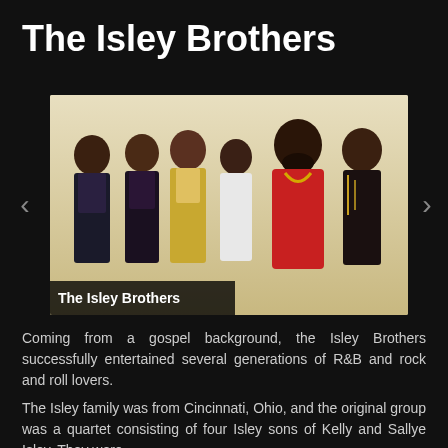The Isley Brothers
[Figure (photo): Group photo of The Isley Brothers — six men in 1970s funk/soul attire, including colorful jackets and afros, posed together against a white background. A caption 'The Isley Brothers' appears in the lower-left corner of the photo.]
Coming from a gospel background, the Isley Brothers successfully entertained several generations of R&B and rock and roll lovers.
The Isley family was from Cincinnati, Ohio, and the original group was a quartet consisting of four Isley sons of Kelly and Sallye Isley. They were